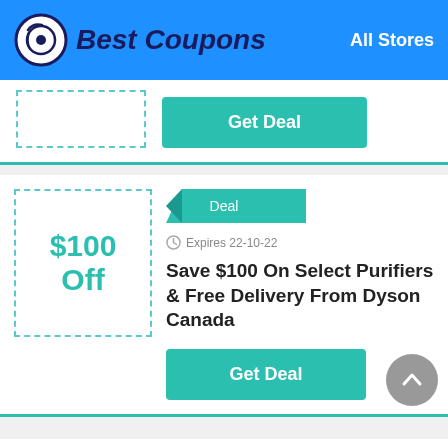Best Coupons | All Stores
Get Deal
Deal | Expires 22-10-22
$100 Off
Save $100 On Select Purifiers & Free Delivery From Dyson Canada
Get Deal